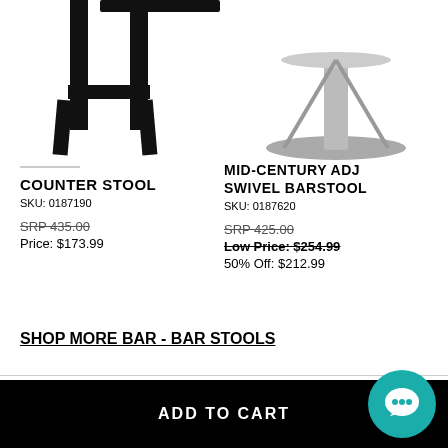[Figure (photo): Counter stool product image — black metal bar stool legs visible from mid-section down, white background]
COUNTER STOOL
SKU: 0187190
SRP 435.00
Price: $173.99
[Figure (photo): Mid-century adjustable swivel barstool product image — partially visible, chrome base, white background]
MID-CENTURY ADJ SWIVEL BARSTOOL
SKU: 0187620
SRP 425.00
Low Price: $254.99
50% Off: $212.99
SHOP MORE BAR - BAR STOOLS
frequently purchased together
[Figure (other): Teal chat/message bubble icon button]
ADD TO CART